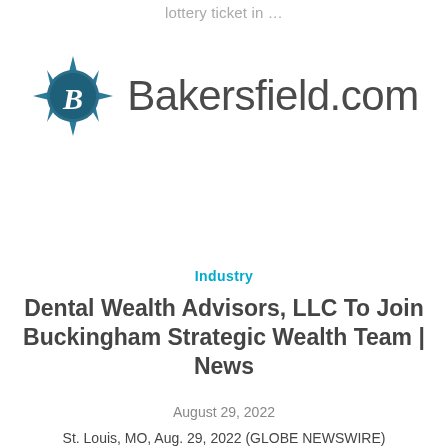lottery ticket in …
[Figure (logo): Bakersfield.com logo with compass-rose 'B' icon in dark teal and gray wordmark text]
Industry
Dental Wealth Advisors, LLC To Join Buckingham Strategic Wealth Team | News
August 29, 2022
St. Louis, MO, Aug. 29, 2022 (GLOBE NEWSWIRE)